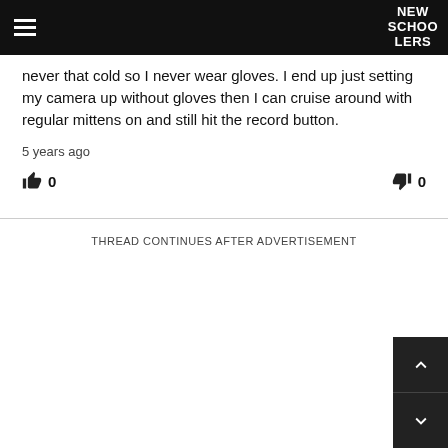NEW SCHOOLERS
never that cold so I never wear gloves. I end up just setting my camera up without gloves then I can cruise around with regular mittens on and still hit the record button.
5 years ago
👍 0  👎 0
THREAD CONTINUES AFTER ADVERTISEMENT